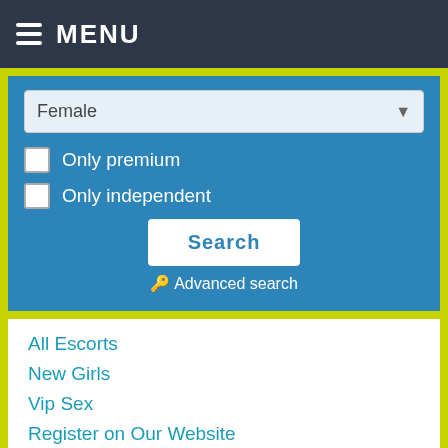MENU
Female (dropdown)
Only premium
Only independent
Search
Advanced search
All Escorts
New Girls
Vip Sex
Register on Our Website
Community Rules
Random Escorts in Ireland
Porn Girls
Escort Soyasmina75 Kolding
Italian escort Nantikul from Bahrain